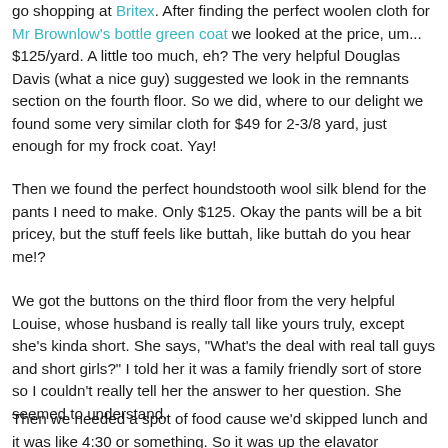go shopping at Britex. After finding the perfect woolen cloth for Mr Brownlow's bottle green coat we looked at the price, um... $125/yard. A little too much, eh? The very helpful Douglas Davis (what a nice guy) suggested we look in the remnants section on the fourth floor. So we did, where to our delight we found some very similar cloth for $49 for 2-3/8 yard, just enough for my frock coat. Yay!
Then we found the perfect houndstooth wool silk blend for the pants I need to make. Only $125. Okay the pants will be a bit pricey, but the stuff feels like buttah, like buttah do you hear me!?
We got the buttons on the third floor from the very helpful Louise, whose husband is really tall like yours truly, except she's kinda short. She says, "What's the deal with real tall guys and short girls?" I told her it was a family friendly sort of store so I couldn't really tell her the answer to her question. She seemed to understand.
Then we needed a spot of food cause we'd skipped lunch and it was like 4:30 or something. So it was up the elavator